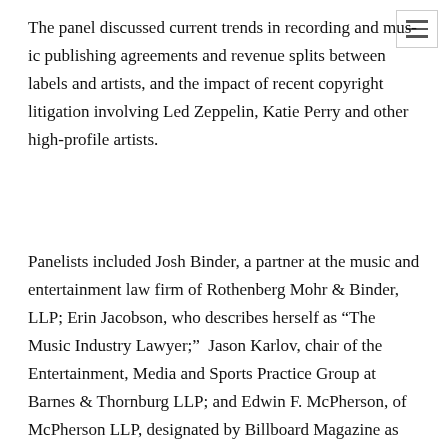The panel discussed current trends in recording and music publishing agreements and revenue splits between labels and artists, and the impact of recent copyright litigation involving Led Zeppelin, Katie Perry and other high-profile artists.
Panelists included Josh Binder, a partner at the music and entertainment law firm of Rothenberg Mohr & Binder, LLP; Erin Jacobson, who describes herself as “The Music Industry Lawyer;”  Jason Karlov, chair of the Entertainment, Media and Sports Practice Group at Barnes & Thornburg LLP; and Edwin F. McPherson, of McPherson LLP, designated by Billboard Magazine as among “50 Attorneys of Note in the Music Biz.”